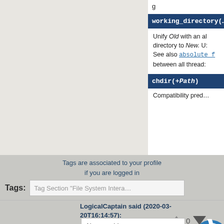working_directory(…
Unify Old with an al… directory to New. U… See also absolute_f… between all thread…
chdir(+Path)
Compatibility pred…
Tags are associated to your profile if you are logged in
Tags: Tag Section "File System Intera…"
LogicalCaptain said (2020-03-20T16:14:57):
0
Also consider library "filesex" ("extended